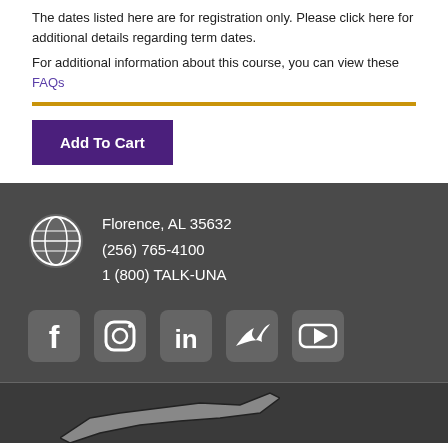The dates listed here are for registration only. Please click here for additional details regarding term dates.
For additional information about this course, you can view these FAQs
Add To Cart
Florence, AL 35632
(256) 765-4100
1 (800) TALK-UNA
[Figure (infographic): Social media icons: Facebook, Instagram, LinkedIn, Twitter, YouTube]
[Figure (illustration): Partial map shape visible at bottom of page]